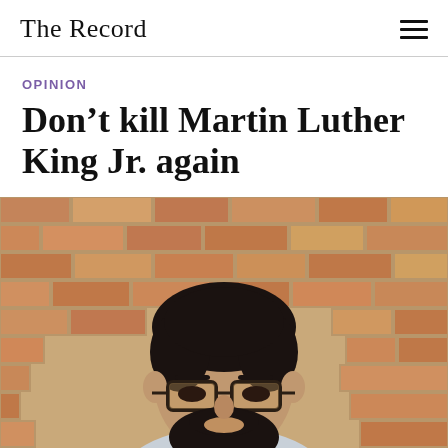The Record
OPINION
Don’t kill Martin Luther King Jr. again
[Figure (photo): Portrait of a young man with dark hair, beard, and glasses, photographed in front of a brick wall background]